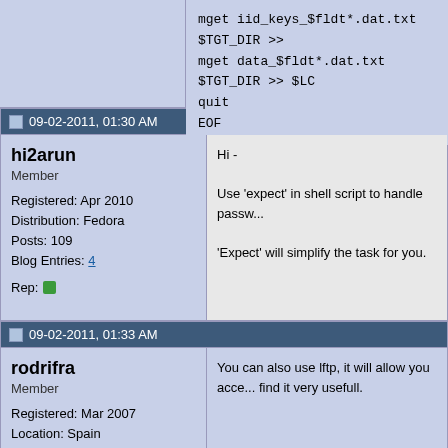mget iid_keys_$fldt*.dat.txt $TGT_DIR >>
mget data_$fldt*.dat.txt $TGT_DIR >> $LC
quit
EOF
09-02-2011, 01:30 AM
hi2arun
Member
Registered: Apr 2010
Distribution: Fedora
Posts: 109
Blog Entries: 4
Rep:
Hi -

Use 'expect' in shell script to handle passw...

'Expect' will simplify the task for you.
09-02-2011, 01:33 AM
rodrifra
Member
Registered: Mar 2007
Location: Spain
Distribution: Debian
Posts: 202
Rep:
You can also use lftp, it will allow you acce... find it very usefull.
09-02-2011, 08:33 AM